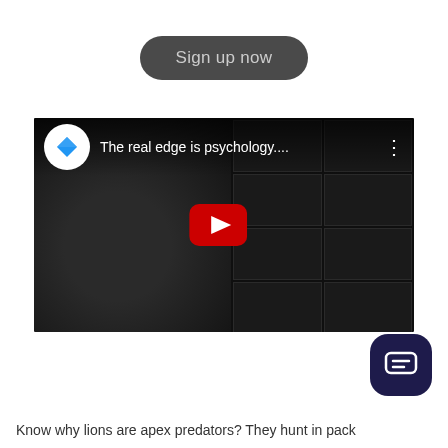[Figure (other): Sign up now button - dark rounded pill-shaped button with grey text]
[Figure (screenshot): YouTube video thumbnail showing 'The real edge is psychology....' with a man's face on dark background and trading screens on the right, with a play button in the center]
[Figure (other): Dark navy chat/messaging widget button in bottom right corner]
Know why lions are apex predators? They hunt in pack